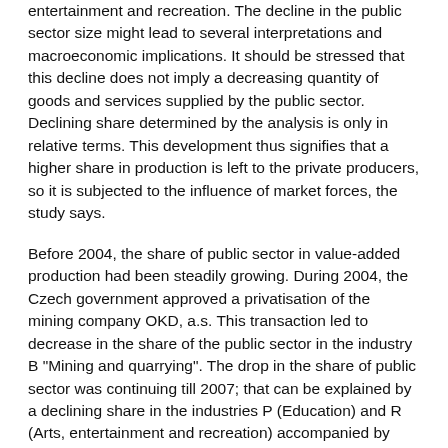entertainment and recreation. The decline in the public sector size might lead to several interpretations and macroeconomic implications. It should be stressed that this decline does not imply a decreasing quantity of goods and services supplied by the public sector. Declining share determined by the analysis is only in relative terms. This development thus signifies that a higher share in production is left to the private producers, so it is subjected to the influence of market forces, the study says.
Before 2004, the share of public sector in value-added production had been steadily growing. During 2004, the Czech government approved a privatisation of the mining company OKD, a.s. This transaction led to decrease in the share of the public sector in the industry B "Mining and quarrying". The drop in the share of public sector was continuing till 2007; that can be explained by a declining share in the industries P (Education) and R (Arts, entertainment and recreation) accompanied by other significant changes. In case of education, the share of the public sector went down by 3 percentage point between 2003 and 2008. This can be accounted for by growing number of students in private universities which grew from 4% in 2003 in total undergraduates to nearly 10% at the